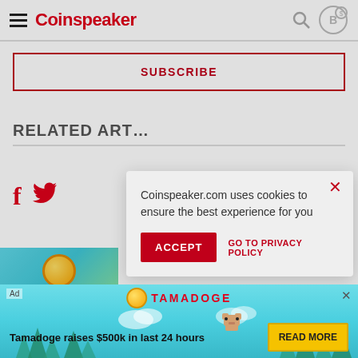Coinspeaker
SUBSCRIBE
RELATED ARTICLES
Coinspeaker.com uses cookies to ensure the best experience for you
ACCEPT  GO TO PRIVACY POLICY
Discover Why
Tamadoge raises $500k in last 24 hours  READ MORE